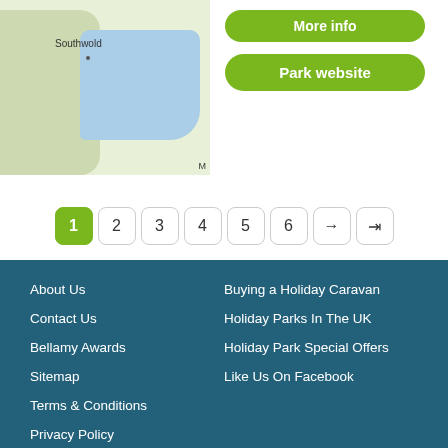[Figure (map): Partial map showing Southwold area with water body and land, with location marker]
Park website
1 2 3 4 5 6 → →|
About Us
Contact Us
Bellamy Awards
Sitemap
Terms & Conditions
Privacy Policy
Cookie Policy
Holiday Park Web Design Key.Digital
Buying a Holiday Caravan
Holiday Parks In The UK
Holiday Park Special Offers
Like Us On Facebook